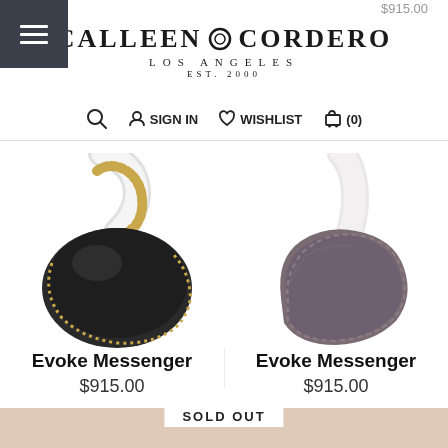$220.00   $915.00
[Figure (logo): Calleen Cordero Los Angeles Est. 2000 logo with circular ring emblem]
SIGN IN   WISHLIST   (0)
[Figure (photo): Black leather Evoke Messenger bag with gold studded strap detail, photographed against white background]
[Figure (photo): Dark grey/taupe suede Evoke Messenger bag with stitched detail, photographed against white background]
Evoke Messenger
$915.00
Evoke Messenger
$915.00
SOLD OUT
[Figure (photo): Bottom portion of two clutch/wallet products with gold zipper, partially visible, one with patterned fabric]
[Figure (photo): Bottom portion of second clutch/wallet product with gold zipper, partially visible]